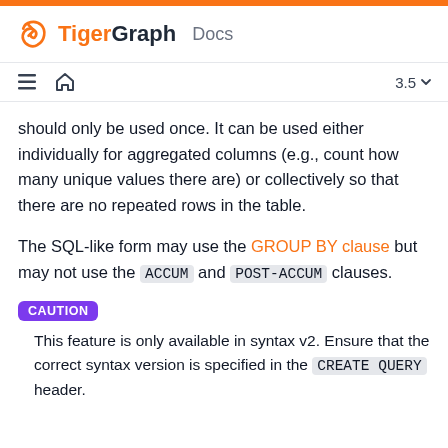TigerGraph Docs
should only be used once. It can be used either individually for aggregated columns (e.g., count how many unique values there are) or collectively so that there are no repeated rows in the table.
The SQL-like form may use the GROUP BY clause but may not use the ACCUM and POST-ACCUM clauses.
CAUTION
This feature is only available in syntax v2. Ensure that the correct syntax version is specified in the CREATE QUERY header.